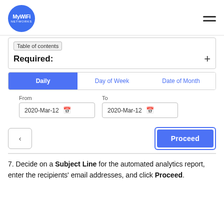[Figure (logo): MyWiFi Networks circular blue logo]
Table of contents
Required: +
Daily | Day of Week | Date of Month
From: 2020-Mar-12   To: 2020-Mar-12
[Figure (screenshot): Back button (left arrow) and Proceed button]
7. Decide on a Subject Line for the automated analytics report, enter the recipients' email addresses, and click Proceed.